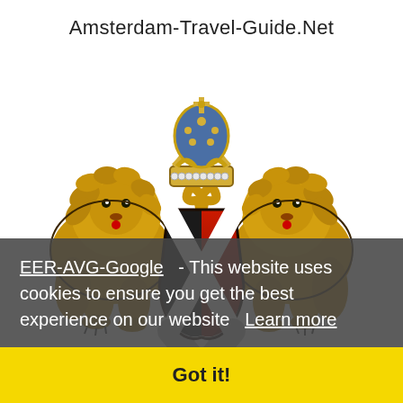Amsterdam-Travel-Guide.Net
[Figure (illustration): Amsterdam coat of arms featuring two golden lions flanking a black-and-red shield with white saltire cross, topped by an imperial crown with blue dome]
EER-AVG-Google  - This website uses cookies to ensure you get the best experience on our website  Learn more
Got it!